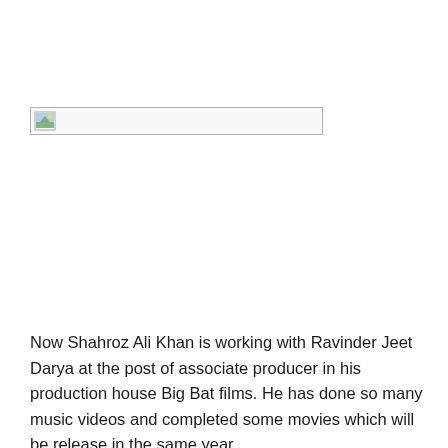[Figure (photo): Broken/placeholder image box with a small landscape thumbnail icon in the top-left corner]
Now Shahroz Ali Khan is working with Ravinder Jeet Darya at the post of associate producer in his production house Big Bat films. He has done so many music videos and completed some movies which will be release in the same year.